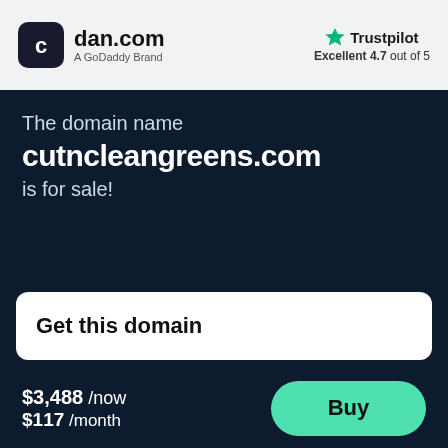[Figure (logo): dan.com logo - dark rounded square with 'c' icon, followed by 'dan.com' text and 'A GoDaddy Brand' subtitle]
[Figure (logo): Trustpilot logo with green star icon, label 'Trustpilot', and rating 'Excellent 4.7 out of 5']
The domain name
cutncleangreens.com
is for sale!
Get this domain
$3,488 /now $117 /month
Buy